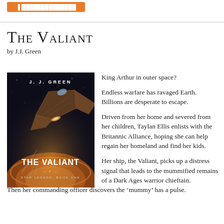[Orange button / call-to-action bar]
The Valiant
by J.J. Green
[Figure (illustration): Book cover of 'The Valiant' by J.J. Green — Star Legend, Book One. Dark sci-fi cover showing a large spaceship over a planet with dramatic lighting.]
King Arthur in outer space?

Endless warfare has ravaged Earth. Billions are desperate to escape.

Driven from her home and severed from her children, Taylan Ellis enlists with the Britannic Alliance, hoping she can help regain her homeland and find her kids.

Her ship, the Valiant, picks up a distress signal that leads to the mummified remains of a Dark Ages warrior chieftain.

Then her commanding officer discovers the ‘mummy’ has a pulse.